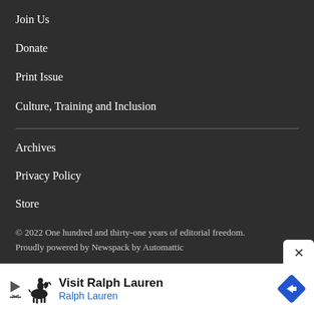Join Us
Donate
Print Issue
Culture, Training and Inclusion
Archives
Privacy Policy
Store
© 2022 One hundred and thirty-one years of editorial freedom.
Proudly powered by Newspack by Automattic
[Figure (other): Advertisement banner for Ralph Lauren with logo, visit text, and navigation arrow icon]